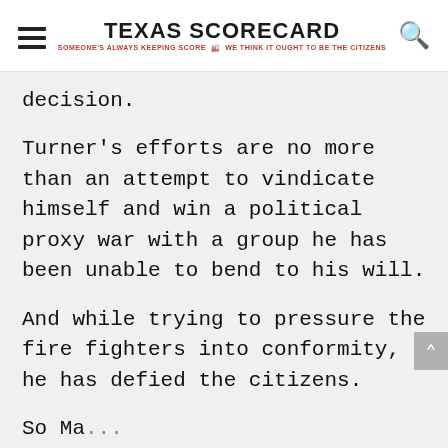TEXAS SCORECARD — SOMEONE'S ALWAYS KEEPING SCORE · WE THINK IT OUGHT TO BE THE CITIZENS
decision.
Turner's efforts are no more than an attempt to vindicate himself and win a political proxy war with a group he has been unable to bend to his will.
And while trying to pressure the fire fighters into conformity, he has defied the citizens.
So Man...